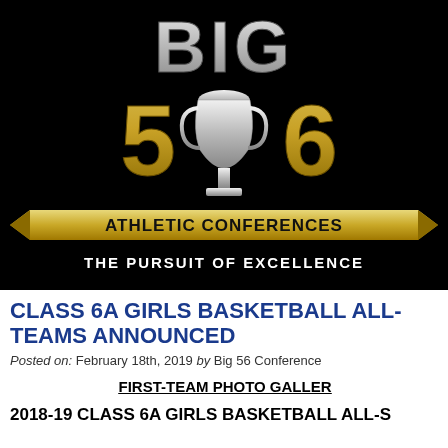[Figure (logo): Big 56 Athletic Conferences logo on black background. Shows 'BIG' in large metallic letters at top, then '5' and '6' in large gold/metallic letters with a silver trophy cup between them, a gold ribbon banner reading 'ATHLETIC CONFERENCES' below, and 'THE PURSUIT OF EXCELLENCE' tagline at the bottom.]
CLASS 6A GIRLS BASKETBALL ALL-TEAMS ANNOUNCED
Posted on: February 18th, 2019 by Big 56 Conference
FIRST-TEAM PHOTO GALLERY
2018-19 CLASS 6A GIRLS BASKETBALL ALL-S